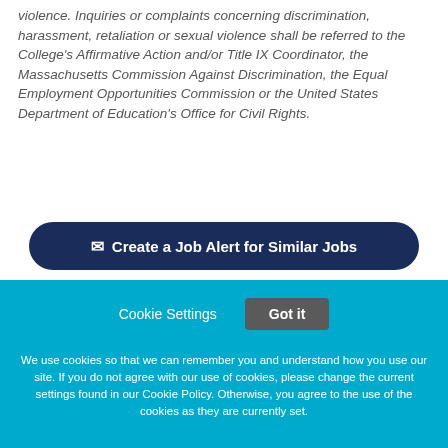violence. Inquiries or complaints concerning discrimination, harassment, retaliation or sexual violence shall be referred to the College's Affirmative Action and/or Title IX Coordinator, the Massachusetts Commission Against Discrimination, the Equal Employment Opportunities Commission or the United States Department of Education's Office for Civil Rights.
✉ Create a Job Alert for Similar Jobs
Cookie Settings  Got it
We use cookies so that we can remember you and understand how you use our site. If you do not agree with our use of cookies, please change the current settings found in our Cookie Policy. Otherwise, you agree to the use of the cookies as they are currently set.